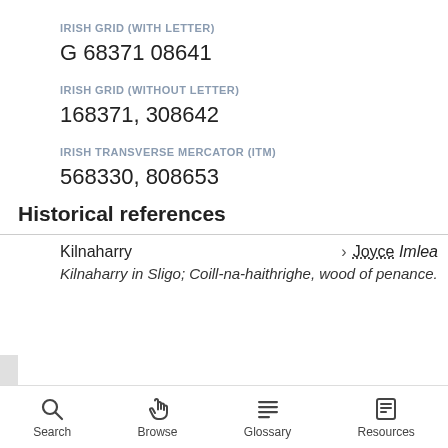IRISH GRID (WITH LETTER)
G 68371 08641
IRISH GRID (WITHOUT LETTER)
168371, 308642
IRISH TRANSVERSE MERCATOR (ITM)
568330, 808653
Historical references
Kilnaharry > Joyce Imlea
Kilnaharry in Sligo; Coill-na-haithrighe, wood of penance.
Search   Browse   Glossary   Resources